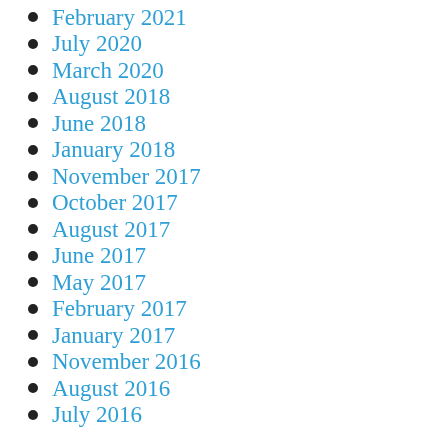February 2021
July 2020
March 2020
August 2018
June 2018
January 2018
November 2017
October 2017
August 2017
June 2017
May 2017
February 2017
January 2017
November 2016
August 2016
July 2016